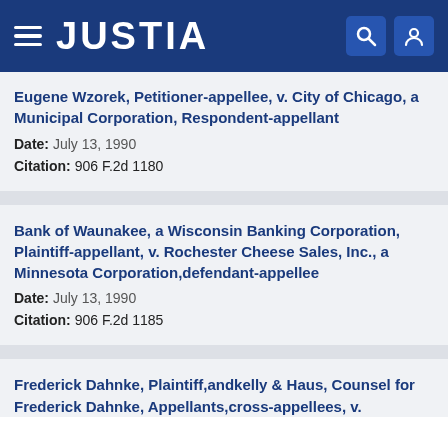JUSTIA
Eugene Wzorek, Petitioner-appellee, v. City of Chicago, a Municipal Corporation, Respondent-appellant
Date: July 13, 1990
Citation: 906 F.2d 1180
Bank of Waunakee, a Wisconsin Banking Corporation, Plaintiff-appellant, v. Rochester Cheese Sales, Inc., a Minnesota Corporation,defendant-appellee
Date: July 13, 1990
Citation: 906 F.2d 1185
Frederick Dahnke, Plaintiff,andkelly & Haus, Counsel for Frederick Dahnke, Appellants,cross-appellees, v.